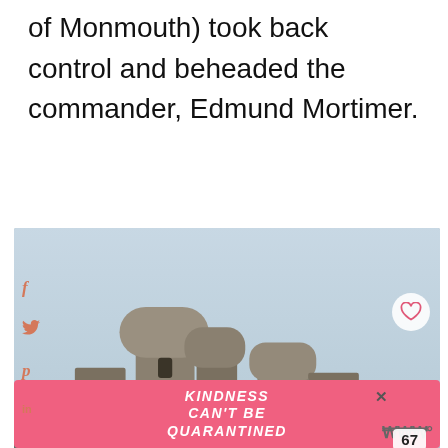of Monmouth) took back control and beheaded the commander, Edmund Mortimer.
[Figure (photo): Photograph of a medieval stone castle ruin with multiple rounded towers against an overcast sky, with green grass in the foreground. Social media share icons (Facebook, Twitter, Pinterest, LinkedIn) are overlaid on the left side. A heart icon and share button appear on the right. A 'What's Next' preview shows 'The Brockenhur...' with a thumbnail. The count 67 is displayed.]
KINDNESS CAN'T BE QUARANTINED